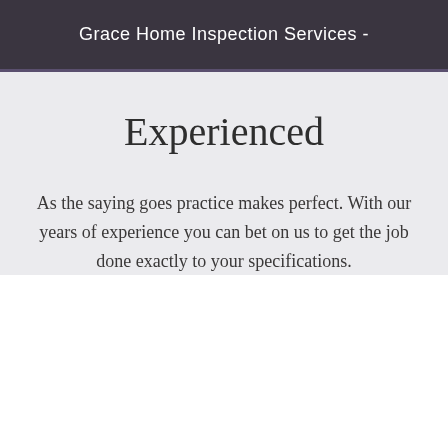Grace Home Inspection Services -
Experienced
As the saying goes practice makes perfect. With our years of experience you can bet on us to get the job done exactly to your specifications.